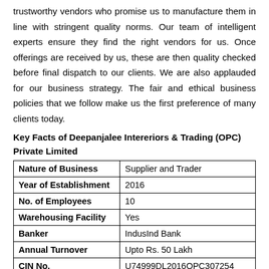trustworthy vendors who promise us to manufacture them in line with stringent quality norms. Our team of intelligent experts ensure they find the right vendors for us. Once offerings are received by us, these are then quality checked before final dispatch to our clients. We are also applauded for our business strategy. The fair and ethical business policies that we follow make us the first preference of many clients today.
Key Facts of Deepanjalee Intereriors & Trading (OPC) Private Limited
| Nature of Business | Supplier and Trader |
| Year of Establishment | 2016 |
| No. of Employees | 10 |
| Warehousing Facility | Yes |
| Banker | IndusInd Bank |
| Annual Turnover | Upto Rs. 50 Lakh |
| CIN No. | U74999DL2016OPC307254 |
| GST No. | 07AAFCD8803Q1Z4 |
| Payment Mode | Cash |